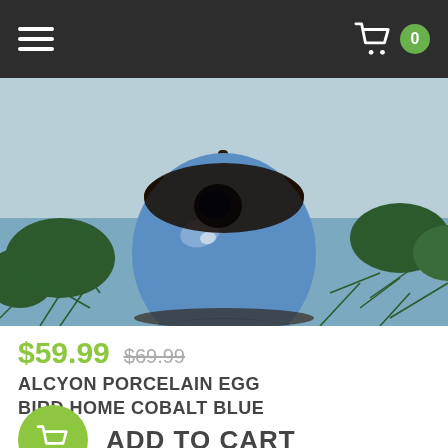Navigation bar with hamburger menu and cart icon showing 0 items
[Figure (photo): A blue cobalt porcelain egg-shaped bird home hanging from a pine tree branch with a lake in the background]
$59.99  $69.99
ALCYON PORCELAIN EGG BIRD HOME COBALT BLUE
ADD TO CART